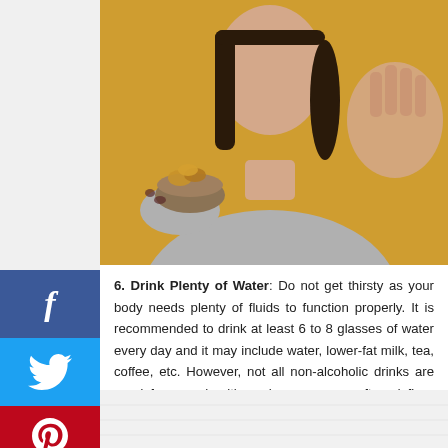[Figure (photo): Woman in grey sweater holding a bowl of pretzels and putting her hand up in a stop gesture, against a golden/yellow background]
6. Drink Plenty of Water: Do not get thirsty as your body needs plenty of fluids to function properly. It is recommended to drink at least 6 to 8 glasses of water every day and it may include water, lower-fat milk, tea, coffee, etc. However, not all non-alcoholic drinks are good for your health such as sugary soft and fizzy drinks as they're high in calories.
[Figure (photo): Bottom partial photo showing a white/light grey surface, partially cropped]